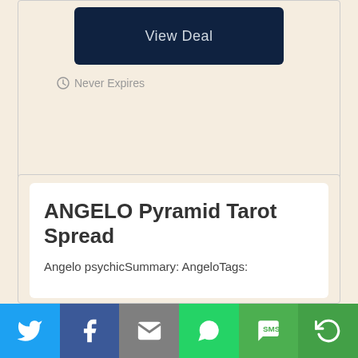View Deal
Never Expires
ANGELO Pyramid Tarot Spread
Angelo psychicSummary: AngeloTags:
[Figure (screenshot): Social share bar with Twitter, Facebook, Email, WhatsApp, SMS, and More buttons]